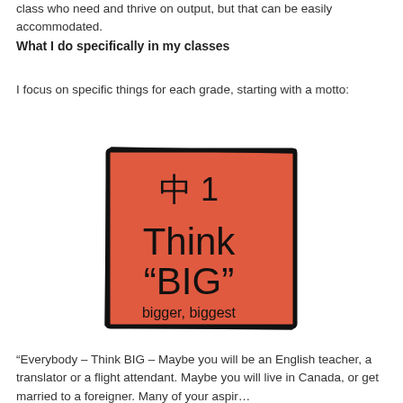class who need and thrive on output, but that can be easily accommodated.
What I do specifically in my classes
I focus on specific things for each grade, starting with a motto:
[Figure (illustration): A red/coral square card with a thick black hand-drawn border. At the top is the kanji '中' followed by '1'. Below that in large text: 'Think "BIG"' and below that in smaller text: 'bigger, biggest'.]
“Everybody – Think BIG – Maybe you will be an English teacher, a translator or a flight attendant. Maybe you will live in Canada, or get married to a foreigner. Many of your aspi…